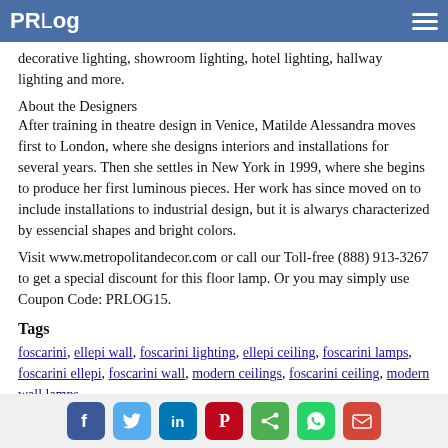PRLog
decorative lighting, showroom lighting, hotel lighting, hallway lighting and more.
About the Designers
After training in theatre design in Venice, Matilde Alessandra moves first to London, where she designs interiors and installations for several years. Then she settles in New York in 1999, where she begins to produce her first luminous pieces. Her work has since moved on to include installations to industrial design, but it is alwarys characterized by essencial shapes and bright colors.
Visit www.metropolitandecor.com or call our Toll-free (888) 913-3267 to get a special discount for this floor lamp. Or you may simply use Coupon Code: PRLOG15.
Tags
foscarini, ellepi wall, foscarini lighting, ellepi ceiling, foscarini lamps, foscarini ellepi, foscarini wall, modern ceilings, foscarini ceiling, modern wall lamps
Social share icons: Facebook, Twitter, LinkedIn, Pinterest, Share, WhatsApp, Email